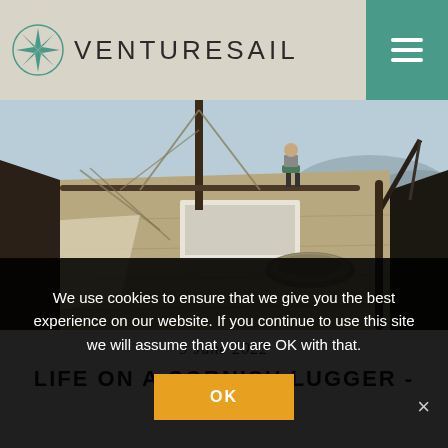VENTURESAIL
[Figure (photo): Deck of a traditional Cornish lugger sailing vessel, showing ropes, wooden deck, rigging, and a person standing at the bow with blue sea and coastal hills in the background]
9 June 2022
LIFE ON A CORNISH LUGGER -
We use cookies to ensure that we give you the best experience on our website. If you continue to use this site we will assume that you are OK with that.
OK